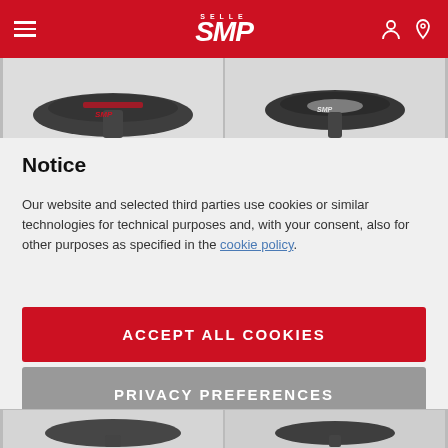Selle SMP
[Figure (photo): Two bicycle saddle product images shown in a horizontal strip]
Notice
Our website and selected third parties use cookies or similar technologies for technical purposes and, with your consent, also for other purposes as specified in the cookie policy.
ACCEPT ALL COOKIES
PRIVACY PREFERENCES
[Figure (photo): Bicycle saddle product images at the bottom of the page]